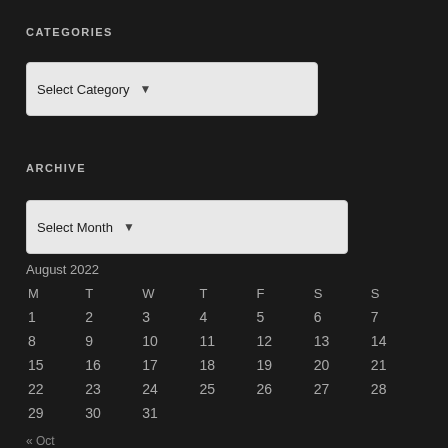CATEGORIES
[Figure (screenshot): Dropdown selector labeled 'Select Category' with a chevron arrow, light gray background]
ARCHIVE
[Figure (screenshot): Dropdown selector labeled 'Select Month' with a chevron arrow, light gray background]
| M | T | W | T | F | S | S |
| --- | --- | --- | --- | --- | --- | --- |
| 1 | 2 | 3 | 4 | 5 | 6 | 7 |
| 8 | 9 | 10 | 11 | 12 | 13 | 14 |
| 15 | 16 | 17 | 18 | 19 | 20 | 21 |
| 22 | 23 | 24 | 25 | 26 | 27 | 28 |
| 29 | 30 | 31 |  |  |  |  |
August 2022
« Oct